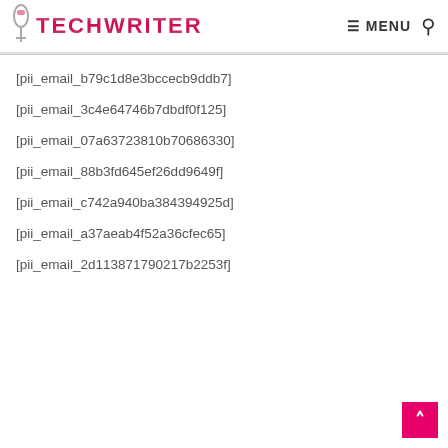TECHWRITER — MENU
[pii_email_b79c1d8e3bccecb9ddb7]
[pii_email_3c4e64746b7dbdf0f125]
[pii_email_07a63723810b70686330]
[pii_email_88b3fd645ef26dd9649f]
[pii_email_c742a940ba384394925d]
[pii_email_a37aeab4f52a36cfec65]
[pii_email_2d113871790217b2253f]